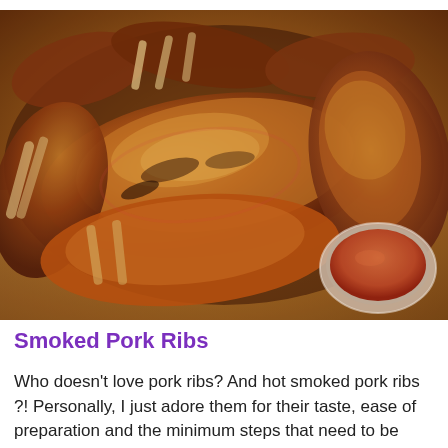[Figure (photo): Close-up photo of smoked pork ribs piled on a wooden cutting board, with a small glass bowl of BBQ sauce in the lower right corner. The ribs are golden-brown and caramelized with a rich bark.]
Smoked Pork Ribs
Who doesn't love pork ribs? And hot smoked pork ribs ?! Personally, I just adore them for their taste, ease of preparation and the minimum steps that need to be